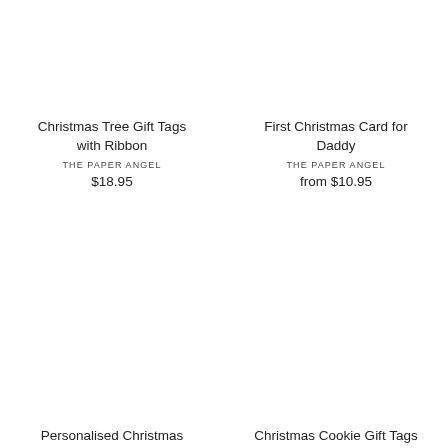Christmas Tree Gift Tags with Ribbon
THE PAPER ANGEL
$18.95
First Christmas Card for Daddy
THE PAPER ANGEL
from $10.95
Personalised Christmas
Christmas Cookie Gift Tags